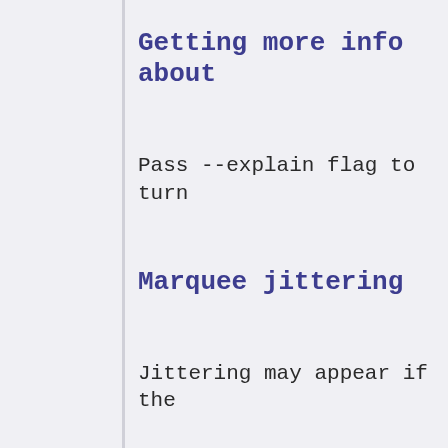Getting more info about
Pass --explain flag to turn
Marquee jittering
Jittering may appear if the
[ { bar = ...
    , settings = defaults.
    }